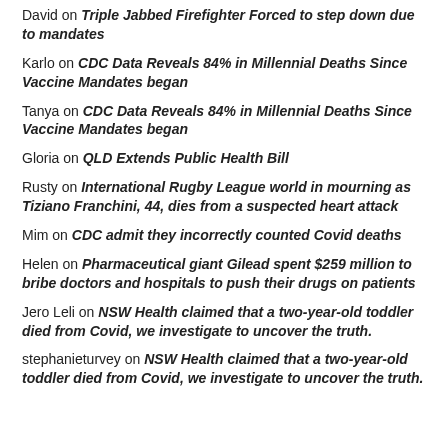David on Triple Jabbed Firefighter Forced to step down due to mandates
Karlo on CDC Data Reveals 84% in Millennial Deaths Since Vaccine Mandates began
Tanya on CDC Data Reveals 84% in Millennial Deaths Since Vaccine Mandates began
Gloria on QLD Extends Public Health Bill
Rusty on International Rugby League world in mourning as Tiziano Franchini, 44, dies from a suspected heart attack
Mim on CDC admit they incorrectly counted Covid deaths
Helen on Pharmaceutical giant Gilead spent $259 million to bribe doctors and hospitals to push their drugs on patients
Jero Leli on NSW Health claimed that a two-year-old toddler died from Covid, we investigate to uncover the truth.
stephanieturvey on NSW Health claimed that a two-year-old toddler died from Covid, we investigate to uncover the truth.